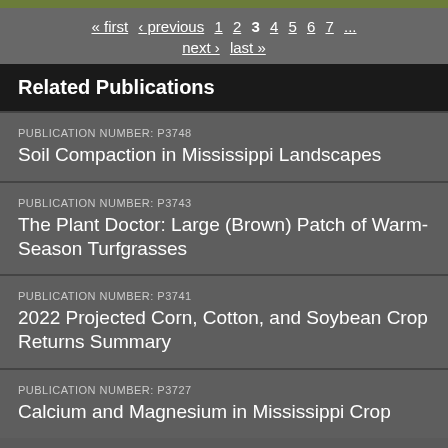« first ‹ previous 1 2 3 4 5 6 7 ... next › last »
Related Publications
PUBLICATION NUMBER: P3748
Soil Compaction in Mississippi Landscapes
PUBLICATION NUMBER: P3743
The Plant Doctor: Large (Brown) Patch of Warm-Season Turfgrasses
PUBLICATION NUMBER: P3741
2022 Projected Corn, Cotton, and Soybean Crop Returns Summary
PUBLICATION NUMBER: P3727
Calcium and Magnesium in Mississippi Crop